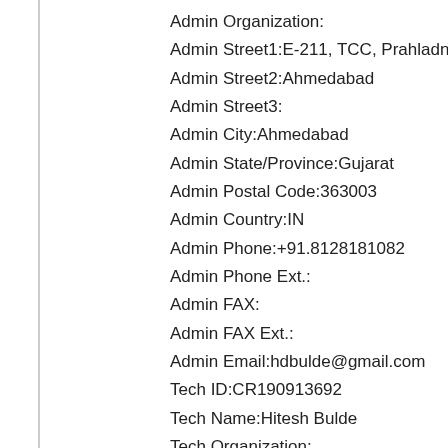Admin Organization:
Admin Street1:E-211, TCC, Prahladnagar
Admin Street2:Ahmedabad
Admin Street3:
Admin City:Ahmedabad
Admin State/Province:Gujarat
Admin Postal Code:363003
Admin Country:IN
Admin Phone:+91.8128181082
Admin Phone Ext.:
Admin FAX:
Admin FAX Ext.:
Admin Email:hdbulde@gmail.com
Tech ID:CR190913692
Tech Name:Hitesh Bulde
Tech Organization:
Tech Street1:E-211, TCC, Prahladnagar
Tech Street2:Ahmedabad